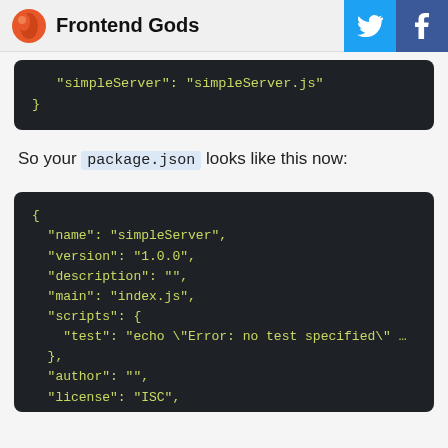Frontend Gods
[Figure (screenshot): Code block showing JSON snippet: "simpleServer": "simpleServer.js" followed by closing brace]
So your package.json looks like this now:
[Figure (screenshot): Code block showing package.json contents: name simpleServer, version 1.0.0, description empty, main index.js, scripts with test echo error, author empty, license ISC, dependencies with chalk ^0.5.1 and partial next line]